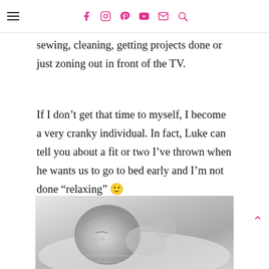[hamburger menu] [social icons: facebook, instagram, pinterest, youtube, email, search]
sewing, cleaning, getting projects done or just zoning out in front of the TV.
If I don’t get that time to myself, I become a very cranky individual. In fact, Luke can tell you about a fit or two I’ve thrown when he wants us to go to bed early and I’m not done “relaxing” 🙂
[Figure (photo): Black and white close-up photo of a sleeping baby]